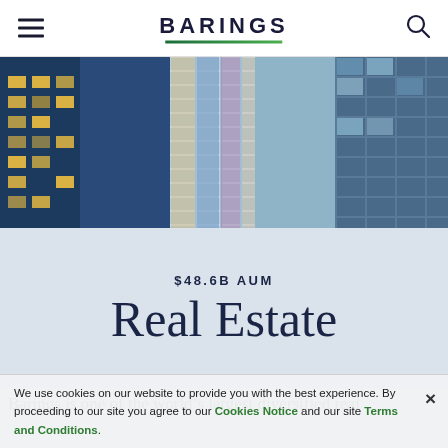BARINGS
[Figure (photo): Glass skyscraper facade with reflections of other buildings and warm lit windows at dusk/night]
$48.6B AUM
Real Estate
Barings is one of the world's largest diversified real
We use cookies on our website to provide you with the best experience. By proceeding to our site you agree to our Cookies Notice and our site Terms and Conditions.